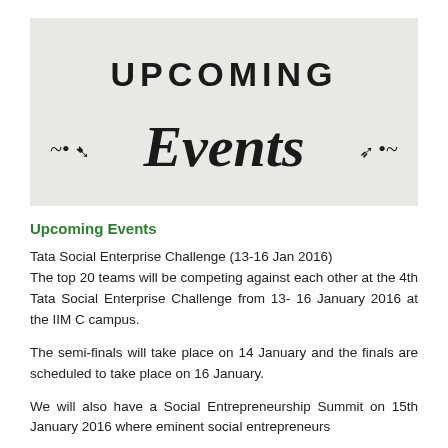[Figure (illustration): Banner image with light grey background showing stylized text 'UPCOMING Events' with decorative swirls]
Upcoming Events
Tata Social Enterprise Challenge (13-16 Jan 2016)
The top 20 teams will be competing against each other at the 4th Tata Social Enterprise Challenge from 13-16 January 2016 at the IIM C campus.
The semi-finals will take place on 14 January and the finals are scheduled to take place on 16 January.
We will also have a Social Entrepreneurship Summit on 15th January 2016 where eminent social entrepreneurs